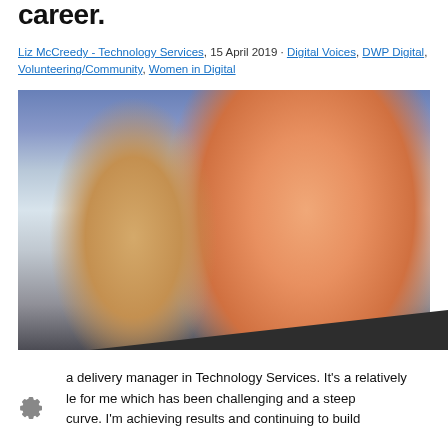career.
Liz McCreedy - Technology Services, 15 April 2019 · Digital Voices, DWP Digital, Volunteering/Community, Women in Digital
[Figure (photo): Two women sitting at a table in conversation. The woman in the foreground (back to camera) has blonde hair. The woman facing the camera wears an orange/coral top and has straight blonde hair. Water bottles and a mug are on the table.]
a delivery manager in Technology Services. It's a relatively le for me which has been challenging and a steep curve. I'm achieving results and continuing to build